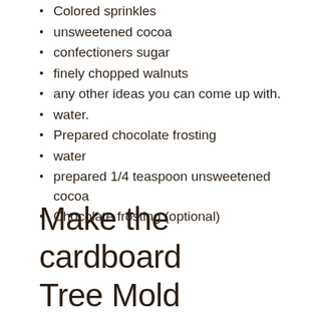Colored sprinkles
unsweetened cocoa
confectioners sugar
finely chopped walnuts
any other ideas you can come up with.
water.
Prepared chocolate frosting
water
prepared 1/4 teaspoon unsweetened cocoa
Chocolate frosting (optional)
Make the cardboard Tree Mold